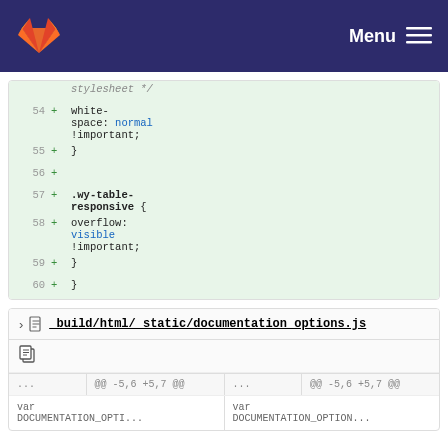GitLab — Menu
[Figure (screenshot): Code diff view showing lines 54-60 of a CSS file with additions (green background). Lines include white-space: normal !important; closing brace; .wy-table-responsive { overflow: visible !important; } closing brace and closing brace for the block.]
_build/html/_static/documentation_options.js
... @@ -5,6 +5,7 @@
var
DOCUMENTATION_OPTI...
... @@ -5,6 +5,7 @@
var
DOCUMENTATION_OPTION...